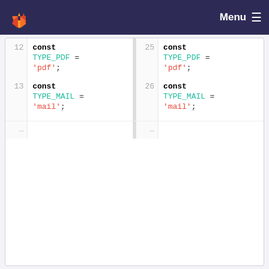GitLab Menu
[Figure (screenshot): Code diff view showing two panels. Left panel lines 12-13: const TYPE_PDF = 'pdf'; const TYPE_MAIL = 'mail';. Right panel lines 25-26: same code. Dots indicating truncation.]
src/UnicaenRenderer/Entity/Db/Macro.php
[Figure (screenshot): Code diff showing @@ -4,10 +4,23 @@ hunk headers, namespace UnicaenRenderer\En lines, blank line 4, then 'use UnicaenUtilisateur\Entity\HistoriqueAwareInterface;' on line 5, then 'use' on line 6.]